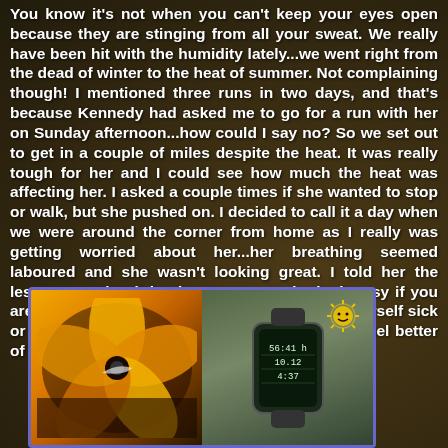You know it's not when you can't keep your eyes open because they are stinging from all your sweat. We really have been hit with the humidity lately...we went right from the dead of winter to the heat of summer. Not complaining though! I mentioned three runs in two days, and that's because Kennedy had asked me to go for a run with her on Sunday afternoon...how could I say no? So we set out to get in a couple of miles despite the heat. It was really tough for her and I could see how much the heat was affecting her. I asked a couple times if she wanted to stop or walk, but she pushed on. I decided to call it a day when we were around the corner from home as I really was getting worried about her...her breathing seemed laboured and she wasn't looking great. I told her the lesson was that it is okay to stop and take it easy if you aren't feeling good...you never want to make yourself sick or hurt yourself. A trip for ice cream made her feel better of course!
[Figure (photo): Two side-by-side photos: left shows a yellow Nike running shoe/fan blade close-up with orange and dark tones; right shows a GPS running watch display with workout stats, with a sun icon in the upper right corner of the combined image.]